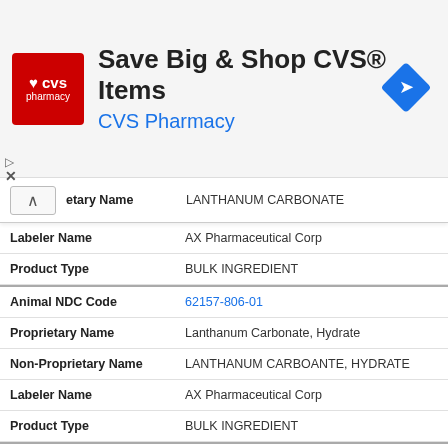[Figure (other): CVS Pharmacy advertisement banner: 'Save Big & Shop CVS® Items / CVS Pharmacy' with CVS logo and navigation icon]
| Field | Value |
| --- | --- |
| Proprietary Name (collapsed) | LANTHANUM CARBONATE |
| Labeler Name | AX Pharmaceutical Corp |
| Product Type | BULK INGREDIENT |
| Animal NDC Code | 62157-806-01 |
| Proprietary Name | Lanthanum Carbonate, Hydrate |
| Non-Proprietary Name | LANTHANUM CARBOANTE, HYDRATE |
| Labeler Name | AX Pharmaceutical Corp |
| Product Type | BULK INGREDIENT |
| Animal NDC Code | 62157-829-01 |
| Proprietary Name | Lapatinib |
| Non-Proprietary Name | LAPATINIB |
| Labeler Name | AX Pharmaceutical Corp |